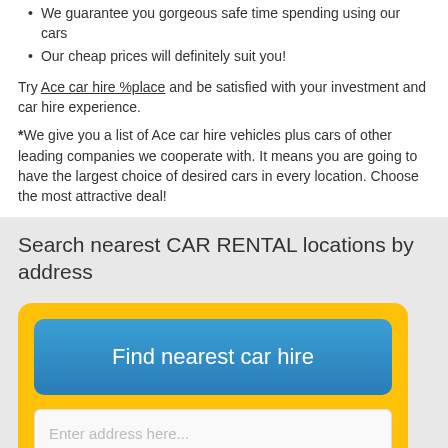We guarantee you gorgeous safe time spending using our cars
Our cheap prices will definitely suit you!
Try Ace car hire %place and be satisfied with your investment and car hire experience.
*We give you a list of Ace car hire vehicles plus cars of other leading companies we cooperate with. It means you are going to have the largest choice of desired cars in every location. Choose the most attractive deal!
Search nearest CAR RENTAL locations by address
[Figure (screenshot): Yellow rounded box containing a blue 'Find nearest car hire' button and an address input field with placeholder 'Enter address here...' and example text 'mple: Porta Diagonal, 8 Cornella, Barcelona, Spain'. A yellow back-to-top arrow button is at the bottom left.]